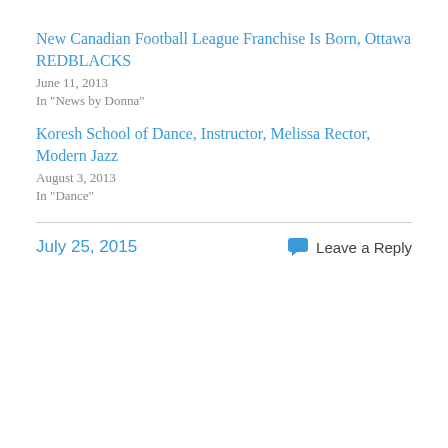New Canadian Football League Franchise Is Born, Ottawa REDBLACKS
June 11, 2013
In "News by Donna"
Koresh School of Dance, Instructor, Melissa Rector, Modern Jazz
August 3, 2013
In "Dance"
July 25, 2015
Leave a Reply
Privacy & Cookies: This site uses cookies. By continuing to use this website, you agree to their use.
To find out more, including how to control cookies, see here: Cookie Policy
Close and accept